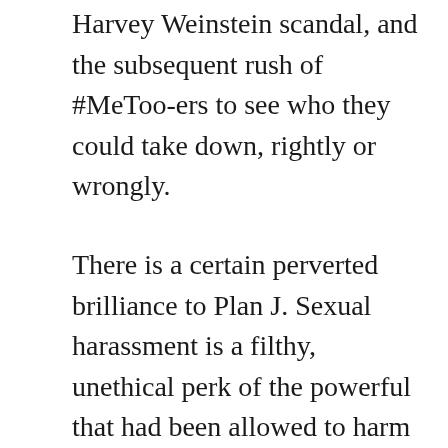Harvey Weinstein scandal, and the subsequent rush of #MeToo-ers to see who they could take down, rightly or wrongly.
There is a certain perverted brilliance to Plan J. Sexual harassment is a filthy, unethical perk of the powerful that had been allowed to harm too many for too long, and was an accepted feature of too many cultures, like government, business, and show business. Thus the pent-up